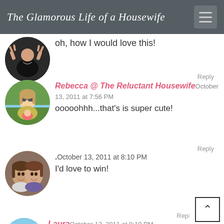The Glamorous Life of a Housewife
oh, how I would love this!
Reply
Rebecca @ The Reluctant Housewife October 13, 2011 at 7:56 PM
ooooohhh...that's is super cute!
Reply
.October 13, 2011 at 8:10 PM
I'd love to win!
Reply
Laura October 13, 2011 at 8:19 PM
super cute and you'll always